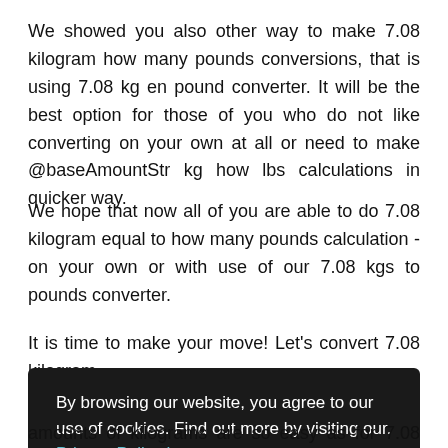We showed you also other way to make 7.08 kilogram how many pounds conversions, that is using 7.08 kg en pound converter. It will be the best option for those of you who do not like converting on your own at all or need to make @baseAmountStr kg how lbs calculations in quicker way.
We hope that now all of you are able to do 7.08 kilogram equal to how many pounds calculation - on your own or with use of our 7.08 kgs to pounds converter.
It is time to make your move! Let’s convert 7.08 kilogram
By browsing our website, you agree to our use of cookies. Find out more by visiting our. Privacy Policy here. Accept
amounts of kilograms are so easy as for 7.08 kilogram